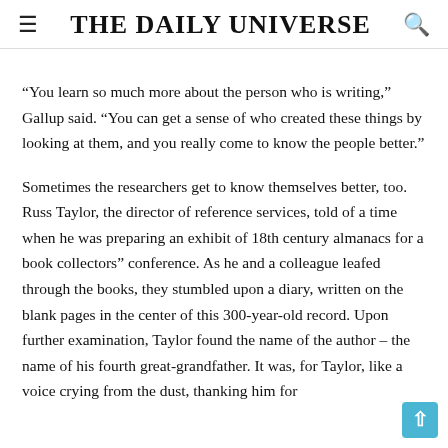The Daily Universe
“You learn so much more about the person who is writing,” Gallup said. “You can get a sense of who created these things by looking at them, and you really come to know the people better.”
Sometimes the researchers get to know themselves better, too. Russ Taylor, the director of reference services, told of a time when he was preparing an exhibit of 18th century almanacs for a book collectors” conference. As he and a colleague leafed through the books, they stumbled upon a diary, written on the blank pages in the center of this 300-year-old record. Upon further examination, Taylor found the name of the author – the name of his fourth great-grandfather. It was, for Taylor, like a voice crying from the dust, thanking him for